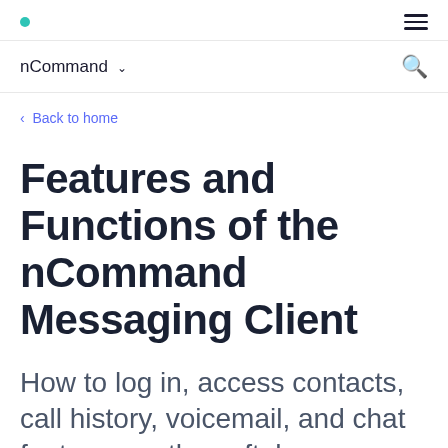nCommand
Back to home
Features and Functions of the nCommand Messaging Client
How to log in, access contacts, call history, voicemail, and chat features on the softphone messaging client